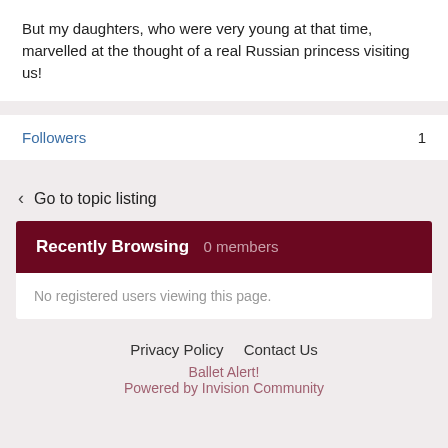But my daughters, who were very young at that time, marvelled at the thought of a real Russian princess visiting us!
Followers  1
Go to topic listing
Recently Browsing  0 members
No registered users viewing this page.
Privacy Policy   Contact Us   Ballet Alert!   Powered by Invision Community